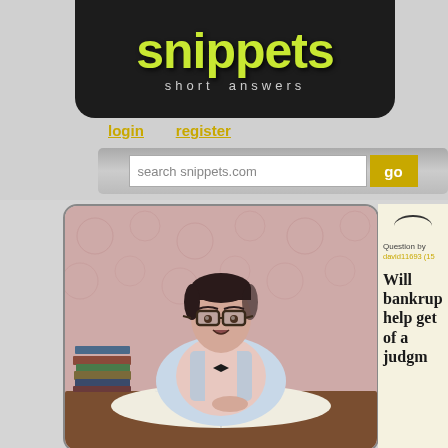snippets — short answers
login   register
search snippets.com   go
[Figure (photo): A nerdy man with glasses and a bow tie, wearing a light blue vest, reading/pointing at an open book on a desk with a stack of books to the left. Pink floral wallpaper background.]
Question by david11693 (15
Will bankrup help get of a judgm